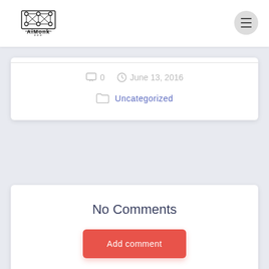AiMonk
0   June 13, 2016
Uncategorized
No Comments
Add comment